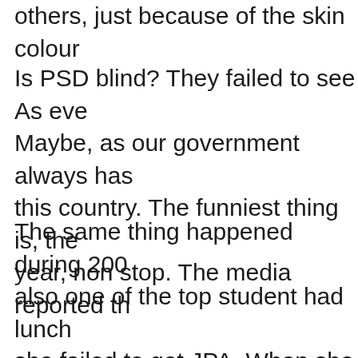others, just because of the skin colour
Is PSD blind? They failed to see As eve Maybe, as our government always has this country. The funniest thing is, the year, non stop. The media reported th
The same thing happened during 200 also one of the top student had lunch she failed to get JPA. When she told u student like her by having 13A1 failed going to get it? Maybe we have to bla